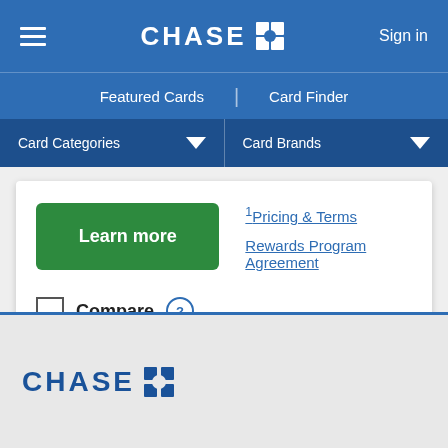CHASE — Sign in
Featured Cards | Card Finder
Card Categories ▼   Card Brands ▼
Learn more
¹Pricing & Terms
Rewards Program Agreement
Compare ?
[Figure (logo): Chase logo in blue at bottom footer]